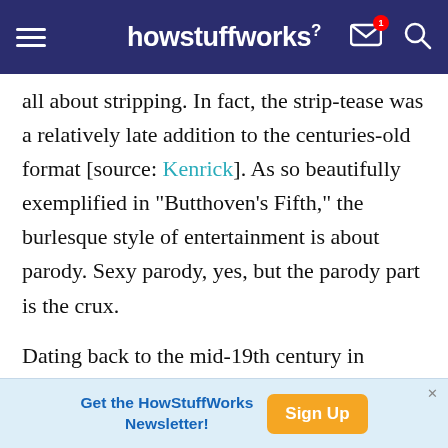howstuffworks
all about stripping. In fact, the strip-tease was a relatively late addition to the centuries-old format [source: Kenrick]. As so beautifully exemplified in "Butthoven's Fifth," the burlesque style of entertainment is about parody. Sexy parody, yes, but the parody part is the crux.
Dating back to the mid-19th century in Britain, the original burlesque shows were comic plays. The productions entertained lower- and middle-class audiences with mockery, particularly of the high-
[Figure (screenshot): Advertisement banner: 'Get the HowStuffWorks Newsletter!' with a 'Sign Up' orange button]